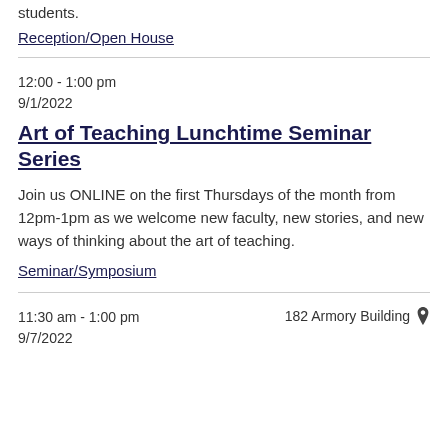students.
Reception/Open House
12:00 - 1:00 pm
9/1/2022
Art of Teaching Lunchtime Seminar Series
Join us ONLINE on the first Thursdays of the month from 12pm-1pm as we welcome new faculty, new stories, and new ways of thinking about the art of teaching.
Seminar/Symposium
11:30 am - 1:00 pm
9/7/2022
182 Armory Building